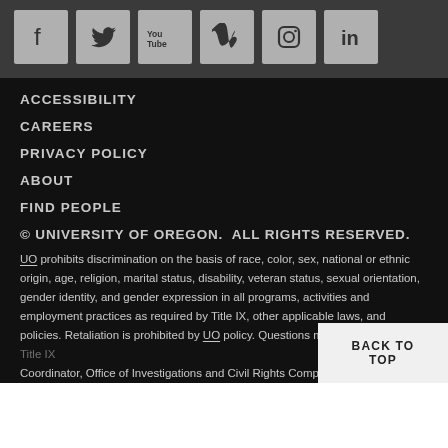[Figure (other): Social media icon bar with Facebook, Twitter, YouTube, Vimeo, Instagram, and LinkedIn icons on dark gray background]
ACCESSIBILITY
CAREERS
PRIVACY POLICY
ABOUT
FIND PEOPLE
© UNIVERSITY OF OREGON.  ALL RIGHTS RESERVED.
UO prohibits discrimination on the basis of race, color, sex, national or ethnic origin, age, religion, marital status, disability, veteran status, sexual orientation, gender identity, and gender expression in all programs, activities and employment practices as required by Title IX, other applicable laws, and policies. Retaliation is prohibited by UO policy. Questions may be referred to the Title IX Coordinator, Office of Investigations and Civil Rights Comp...